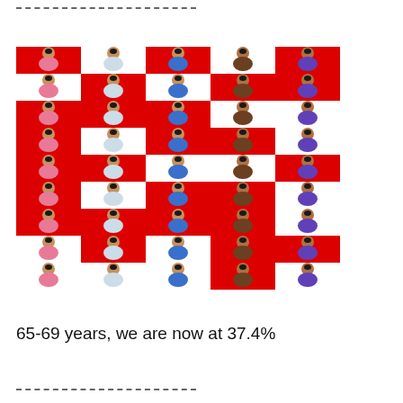[Figure (infographic): A grid of 45 person icons (9 rows x 5 columns) with alternating red and white backgrounds representing a population statistic. Some cells have red backgrounds highlighting a portion of the population.]
65-69 years, we are now at 37.4%